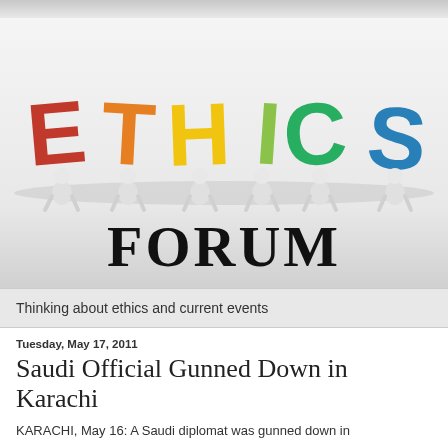[Figure (illustration): Colorful 3D cartoon figures carrying large letters spelling ETHICS, with the word FORUM written below in a handwritten/comic font. The letters E, T, H, I, C, S are in red, orange, yellow, lime/yellow-green, green, and blue respectively. Small white figurines carry each letter. Below the letters the word FORUM appears in large black handwritten-style font.]
Thinking about ethics and current events
Tuesday, May 17, 2011
Saudi Official Gunned Down in Karachi
KARACHI, May 16: A Saudi diplomat was gunned down in